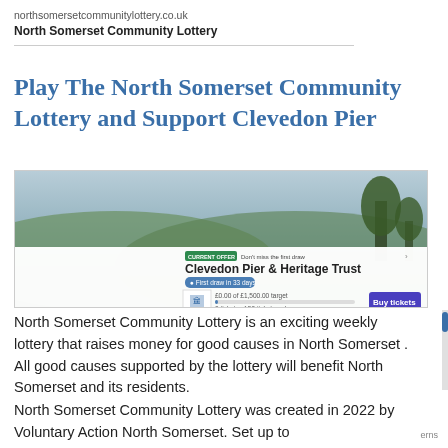northsomersetcommunitylottery.co.uk
North Somerset Community Lottery
Play The North Somerset Community Lottery and Support Clevedon Pier
[Figure (screenshot): Screenshot of the North Somerset Community Lottery website showing the Clevedon Pier & Heritage Trust page with a landscape background, current offer banner, first draw in 33 days badge, progress bar showing £0 of £1,500.00 target and 0 tickets of 50 ticket goal, and a purple Buy tickets button.]
North Somerset Community Lottery is an exciting weekly lottery that raises money for good causes in North Somerset . All good causes supported by the lottery will benefit North Somerset and its residents.
North Somerset Community Lottery was created in 2022 by Voluntary Action North Somerset. Set up to